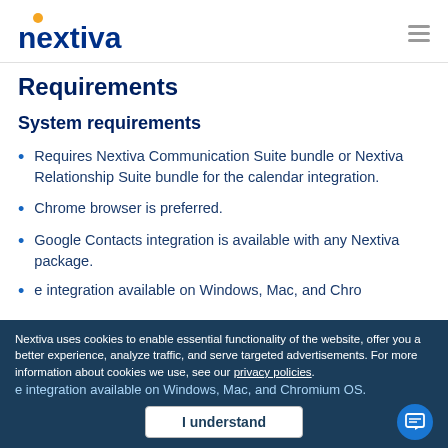nextiva
Requirements
System requirements
Requires Nextiva Communication Suite bundle or Nextiva Relationship Suite bundle for the calendar integration.
Chrome browser is preferred.
Google Contacts integration is available with any Nextiva package.
e integration available on Windows, Mac, and Chromium OS.
Nextiva uses cookies to enable essential functionality of the website, offer you a better experience, analyze traffic, and serve targeted advertisements. For more information about cookies we use, see our privacy policies.
I understand